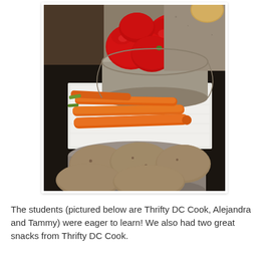[Figure (photo): A kitchen counter scene showing a bowl of red bell peppers at the top, several whole carrots laid out on white paper towels in the middle, and a bowl of potatoes at the bottom. All vegetables are on a dark surface.]
The students (pictured below are Thrifty DC Cook, Alejandra and Tammy) were eager to learn! We also had two great snacks from Thrifty DC Cook.